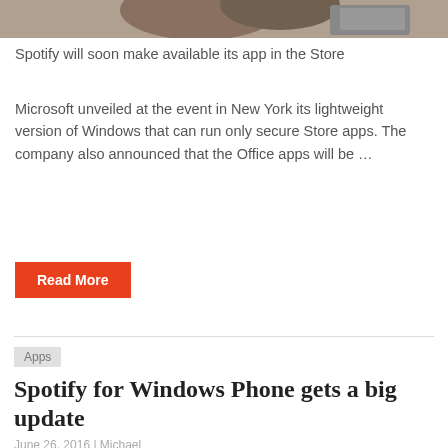[Figure (photo): Cropped photo of people at an event, partially visible at top of page]
Spotify will soon make available its app in the Store
Microsoft unveiled at the event in New York its lightweight version of Windows that can run only secure Store apps. The company also announced that the Office apps will be …
Read More
Apps
Spotify for Windows Phone gets a big update
June 26, 2016 | Michael
[Figure (screenshot): Screenshot of Spotify app listing showing Spotify logo, name, Spotify AB, five stars rating, and Update available text]